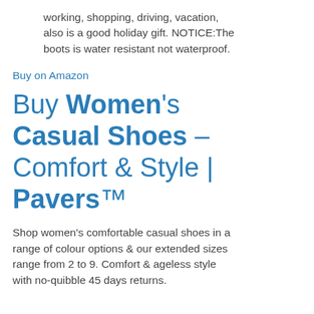working, shopping, driving, vacation, also is a good holiday gift. NOTICE:The boots is water resistant not waterproof.
Buy on Amazon
Buy Women's Casual Shoes – Comfort & Style | Pavers™
Shop women's comfortable casual shoes in a range of colour options & our extended sizes range from 2 to 9. Comfort & ageless style with no-quibble 45 days returns.